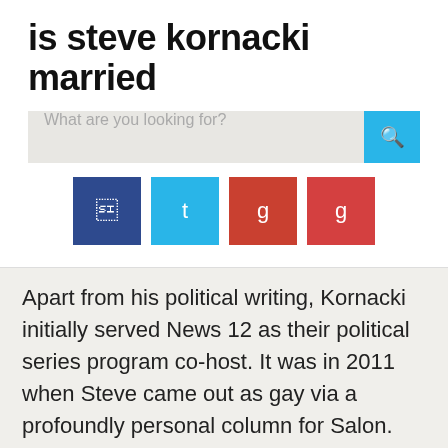is steve kornacki married
[Figure (screenshot): Search bar with placeholder text 'What are you looking for?' and a cyan search button with magnifying glass icon]
[Figure (infographic): Four social media icon buttons: dark blue (Facebook), cyan (Twitter), red (Google+/YouTube), red (another platform)]
Apart from his political writing, Kornacki initially served News 12 as their political series program co-host. It was in 2011 when Steve came out as gay via a profoundly personal column for Salon. Steve is active on Facebook, Instagram, and Twitter. His confession took the global readers by surprise as they analyzed the existence of the distinguished world, where a lot of men must live to have the life they want. This spacious entry attracted much care of various magazines in addition to papers, notably as it had been an